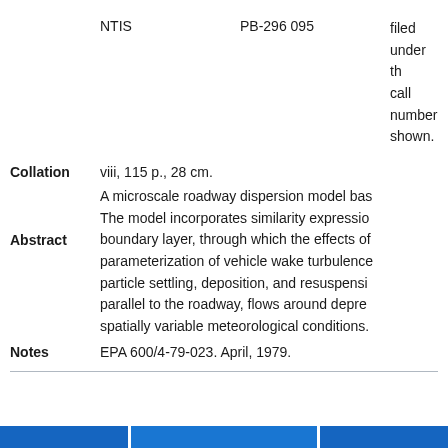NTIS    PB-296 095    filed under the call number shown.
Collation    viii, 115 p., 28 cm.
Abstract    A microscale roadway dispersion model bas... The model incorporates similarity expressio... boundary layer, through which the effects of... parameterization of vehicle wake turbulence... particle settling, deposition, and resusp ensi... parallel to the roadway, flows around depre... spatially variable meteorological conditions.
Notes    EPA 600/4-79-023. April, 1979.